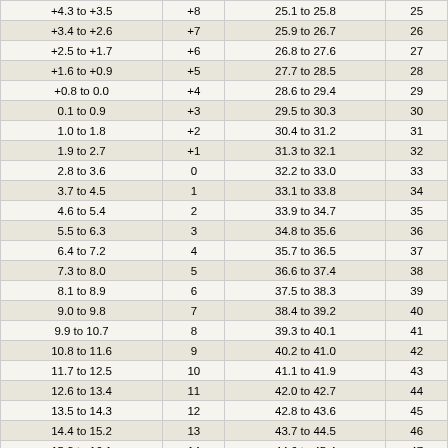| +4.3 to +3.5 | +8 | 25.1 to 25.8 | 25 |
| +3.4 to +2.6 | +7 | 25.9 to 26.7 | 26 |
| +2.5 to +1.7 | +6 | 26.8 to 27.6 | 27 |
| +1.6 to +0.9 | +5 | 27.7 to 28.5 | 28 |
| +0.8 to 0.0 | +4 | 28.6 to 29.4 | 29 |
| 0.1 to 0.9 | +3 | 29.5 to 30.3 | 30 |
| 1.0 to 1.8 | +2 | 30.4 to 31.2 | 31 |
| 1.9 to 2.7 | +1 | 31.3 to 32.1 | 32 |
| 2.8 to 3.6 | 0 | 32.2 to 33.0 | 33 |
| 3.7 to 4.5 | 1 | 33.1 to 33.8 | 34 |
| 4.6 to 5.4 | 2 | 33.9 to 34.7 | 35 |
| 5.5 to 6.3 | 3 | 34.8 to 35.6 | 36 |
| 6.4 to 7.2 | 4 | 35.7 to 36.5 | 37 |
| 7.3 to 8.0 | 5 | 36.6 to 37.4 | 38 |
| 8.1 to 8.9 | 6 | 37.5 to 38.3 | 39 |
| 9.0 to 9.8 | 7 | 38.4 to 39.2 | 40 |
| 9.9 to 10.7 | 8 | 39.3 to 40.1 | 41 |
| 10.8 to 11.6 | 9 | 40.2 to 41.0 | 42 |
| 11.7 to 12.5 | 10 | 41.1 to 41.9 | 43 |
| 12.6 to 13.4 | 11 | 42.0 to 42.7 | 44 |
| 13.5 to 14.3 | 12 | 42.8 to 43.6 | 45 |
| 14.4 to 15.2 | 13 | 43.7 to 44.5 | 46 |
| 15.3 to 16.1 | 14 | 44.6 to 45.4 | 47 |
| 16.2 to 16.9 | 15 | 45.5 to 46.3 | 48 |